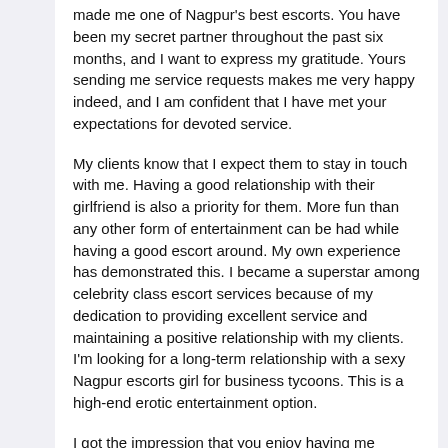made me one of Nagpur's best escorts. You have been my secret partner throughout the past six months, and I want to express my gratitude. Yours sending me service requests makes me very happy indeed, and I am confident that I have met your expectations for devoted service.
My clients know that I expect them to stay in touch with me. Having a good relationship with their girlfriend is also a priority for them. More fun than any other form of entertainment can be had while having a good escort around. My own experience has demonstrated this. I became a superstar among celebrity class escort services because of my dedication to providing excellent service and maintaining a positive relationship with my clients. I'm looking for a long-term relationship with a sexy Nagpur escorts girl for business tycoons. This is a high-end erotic entertainment option.
I got the impression that you enjoy having me around and intend to keep in touch with me for the rest of your life. As far as I can recall, my clients are referring to me in the context of their social circles. In other words, my Nagpur escorts have met the expectations of all of my boyfriends. And they'll need it again. Unfortunately, I have a lot of time on my hands with my new boyfriends, with whom I am having a blast playing love games